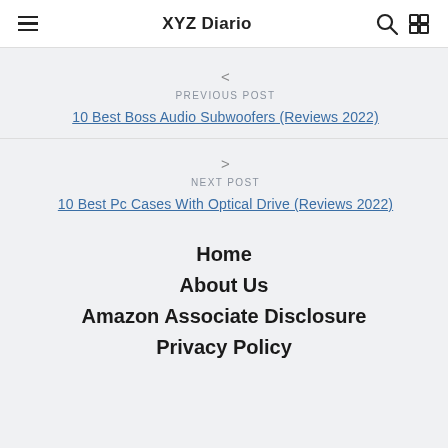XYZ Diario
< PREVIOUS POST
10 Best Boss Audio Subwoofers (Reviews 2022)
> NEXT POST
10 Best Pc Cases With Optical Drive (Reviews 2022)
Home
About Us
Amazon Associate Disclosure
Privacy Policy